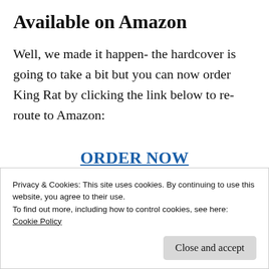Available on Amazon
Well, we made it happen- the hardcover is going to take a bit but you can now order King Rat by clicking the link below to re-route to Amazon:
ORDER NOW
Privacy & Cookies: This site uses cookies. By continuing to use this website, you agree to their use.
To find out more, including how to control cookies, see here:
Cookie Policy
it a source of some income. I have quite a bit of